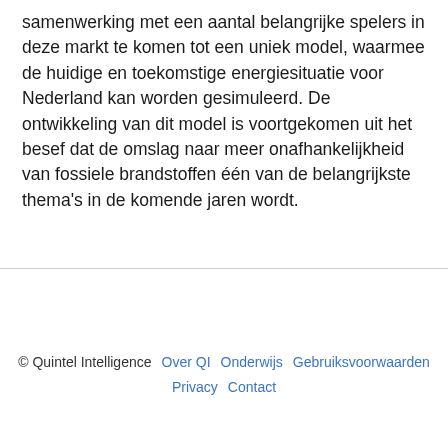samenwerking met een aantal belangrijke spelers in deze markt te komen tot een uniek model, waarmee de huidige en toekomstige energiesituatie voor Nederland kan worden gesimuleerd. De ontwikkeling van dit model is voortgekomen uit het besef dat de omslag naar meer onafhankelijkheid van fossiele brandstoffen één van de belangrijkste thema's in de komende jaren wordt.
© Quintel Intelligence   Over QI   Onderwijs   Gebruiksvoorwaarden   Privacy   Contact